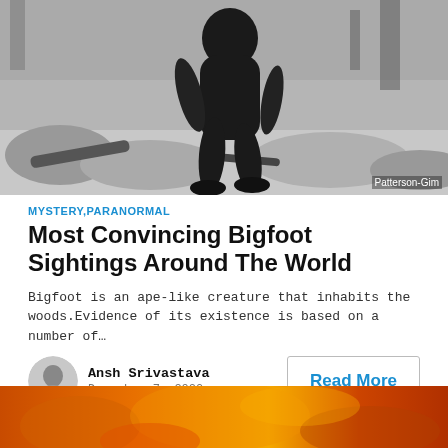[Figure (photo): Black and white photograph of a large ape-like creature (Bigfoot/Sasquatch) walking through a rocky wooded area, with watermark 'Patterson-Gim' in bottom right corner]
MYSTERY, PARANORMAL
Most Convincing Bigfoot Sightings Around The World
Bigfoot is an ape-like creature that inhabits the woods.Evidence of its existence is based on a number of…
Ansh Srivastava
December 7, 2020
Read More
[Figure (photo): Bottom portion of an orange/amber colored image — partial view of next article's thumbnail]